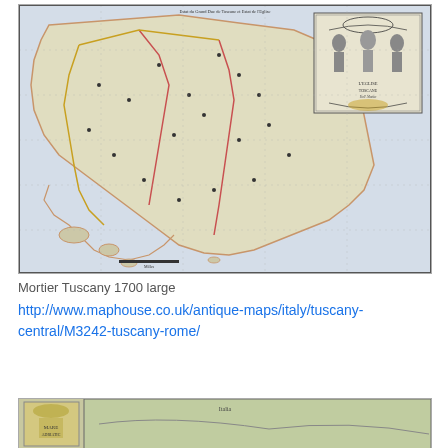[Figure (map): Antique map titled 'Estat du Grand Duc de Toscane et Estat de l'Eglise' (Mortier Tuscany 1700 large). Hand-colored engraved map showing Tuscany and central Italy with decorative cartouche in upper right corner, showing coastlines, territories marked with colored borders, islands, and place names. Published by Mortier circa 1700.]
Mortier Tuscany 1700 large
http://www.maphouse.co.uk/antique-maps/italy/tuscany-central/M3242-tuscany-rome/
[Figure (map): Partial view of another antique map at the bottom of the page, showing a colorful historical map of Italy or similar region with decorative elements.]